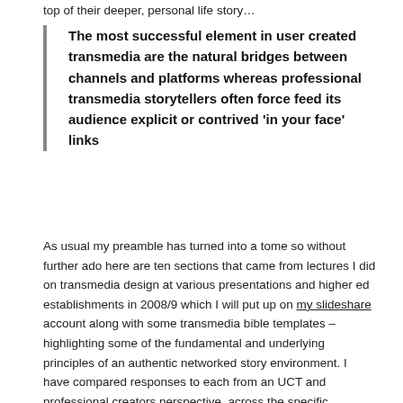top of their deeper, personal life story…
The most successful element in user created transmedia are the natural bridges between channels and platforms whereas professional transmedia storytellers often force feed its audience explicit or contrived 'in your face' links
As usual my preamble has turned into a tome so without further ado here are ten sections that came from lectures I did on transmedia design at various presentations and higher ed establishments in 2008/9 which I will put up on my slideshare account along with some transmedia bible templates – highlighting some of the fundamental and underlying principles of an authentic networked story environment. I have compared responses to each from an UCT and professional creators perspective, across the specific